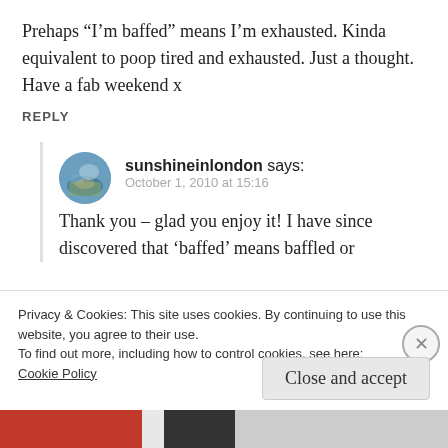Prehaps “I’m baffed” means I’m exhausted. Kinda equivalent to poop tired and exhausted. Just a thought.
Have a fab weekend x
REPLY
sunshineinlondon says:
October 1, 2010 at 15:16
Thank you – glad you enjoy it! I have since discovered that ‘baffed’ means baffled or
Privacy & Cookies: This site uses cookies. By continuing to use this website, you agree to their use.
To find out more, including how to control cookies, see here:
Cookie Policy
Close and accept